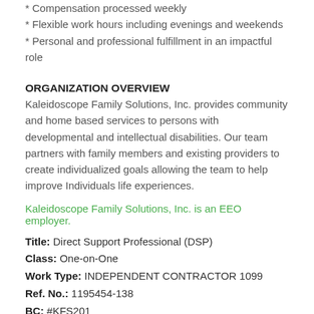* Compensation processed weekly
* Flexible work hours including evenings and weekends
* Personal and professional fulfillment in an impactful role
ORGANIZATION OVERVIEW
Kaleidoscope Family Solutions, Inc. provides community and home based services to persons with developmental and intellectual disabilities. Our team partners with family members and existing providers to create individualized goals allowing the team to help improve Individuals life experiences.
Kaleidoscope Family Solutions, Inc. is an EEO employer.
Title: Direct Support Professional (DSP)
Class: One-on-One
Work Type: INDEPENDENT CONTRACTOR 1099
Ref. No.: 1195454-138
BC: #KFS201
Company: Kaleidoscope Family Solutions, Inc.